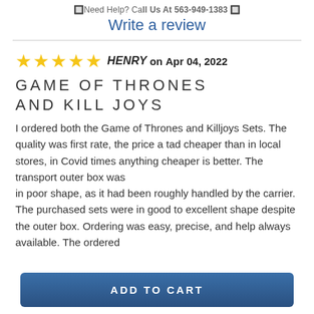🔲 Need Help? Call Us At 563-949-1383 🔲
Write a review
★★★★★ HENRY on Apr 04, 2022
GAME OF THRONES AND KILL JOYS
I ordered both the Game of Thrones and Killjoys Sets. The quality was first rate, the price a tad cheaper than in local stores, in Covid times anything cheaper is better. The transport outer box was in poor shape, as it had been roughly handled by the carrier. The purchased sets were in good to excellent shape despite the outer box. Ordering was easy, precise, and help always available. The ordered
ADD TO CART